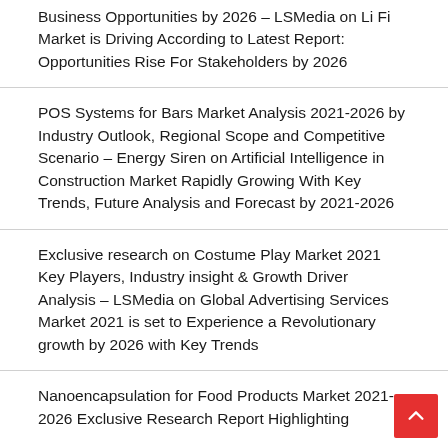Business Opportunities by 2026 – LSMedia on Li Fi Market is Driving According to Latest Report: Opportunities Rise For Stakeholders by 2026
POS Systems for Bars Market Analysis 2021-2026 by Industry Outlook, Regional Scope and Competitive Scenario – Energy Siren on Artificial Intelligence in Construction Market Rapidly Growing With Key Trends, Future Analysis and Forecast by 2021-2026
Exclusive research on Costume Play Market 2021 Key Players, Industry insight & Growth Driver Analysis – LSMedia on Global Advertising Services Market 2021 is set to Experience a Revolutionary growth by 2026 with Key Trends
Nanoencapsulation for Food Products Market 2021-2026 Exclusive Research Report Highlighting